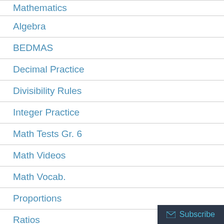Mathematics
Algebra
BEDMAS
Decimal Practice
Divisibility Rules
Integer Practice
Math Tests Gr. 6
Math Videos
Math Vocab.
Proportions
Ratios
Simplifying Fractions